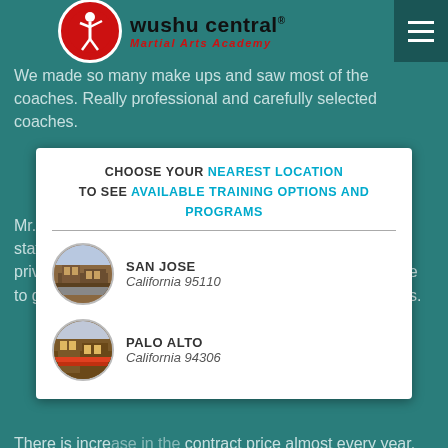a great workout her in short time.
[Figure (logo): Wushu Central Martial Arts Academy logo with red circle and white figure, brand name in dark text with red subtitle]
We made so many make ups and saw most of the coaches. Really professional and carefully selected coaches.
[Figure (infographic): Modal overlay: CHOOSE YOUR NEAREST LOCATION TO SEE AVAILABLE TRAINING OPTIONS AND PROGRAMS, with two location options: SAN JOSE California 95110 and PALO ALTO California 94306, each with a circular thumbnail]
Mr. Please is very good at his job as well as the rest of staff. You can easily schedule tests, make up classes, private classes or private tests. He always works with me to get the best suitable time for both me and the coaches.
There is increase in the contract price almost every year. You will know when you renew your contract. There are 2 types of contract: yearly contract and monthly contract and you need to read your contract carefully.
I am planning to stay in Wushu center until my kids get the black belt if the contract payments are still